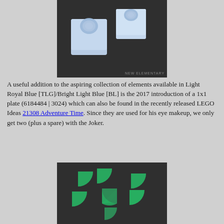[Figure (photo): Two light blue/bright light blue 1x1 LEGO plates photographed against a dark background, with watermark 'NEW ELEMENTARY' at bottom right]
A useful addition to the aspiring collection of elements available in Light Royal Blue [TLG]/Bright Light Blue [BL] is the 2017 introduction of a 1x1 plate (6184484 | 3024) which can also be found in the recently released LEGO Ideas 21308 Adventure Time. Since they are used for his eye makeup, we only get two (plus a spare) with the Joker.
[Figure (photo): Multiple green LEGO quarter-circle/wedge pieces scattered on a dark background, including some arranged in a circular pattern]